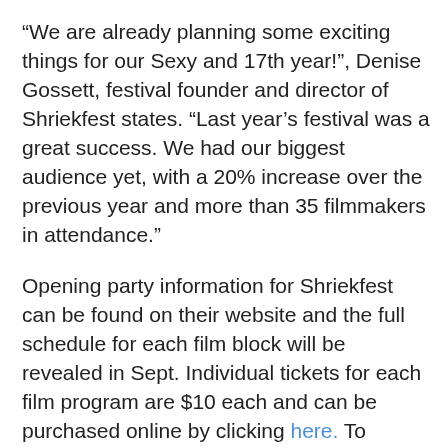“We are already planning some exciting things for our Sexy and 17th year!”, Denise Gossett, festival founder and director of Shriekfest states. “Last year’s festival was a great success. We had our biggest audience yet, with a 20% increase over the previous year and more than 35 filmmakers in attendance.”
Opening party information for Shriekfest can be found on their website and the full schedule for each film block will be revealed in Sept. Individual tickets for each film program are $10 each and can be purchased online by clicking here. To receive the half off discount for the festival passes, payments must be submitted via paypal.com and to the email address shriekfest@aol.com. To avoid fees, funds transferred must be through the purchaser’s